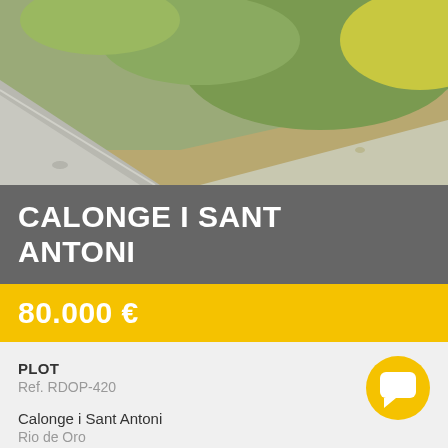[Figure (photo): Outdoor photo showing a road/path with grass and hillside terrain in Calonge i Sant Antoni area]
CALONGE I SANT ANTONI
80.000 €
PLOT
Ref. RDOP-420
Calonge i Sant Antoni
Rio de Oro
[Figure (illustration): Yellow circular chat/message bubble icon]
Add to bookmark